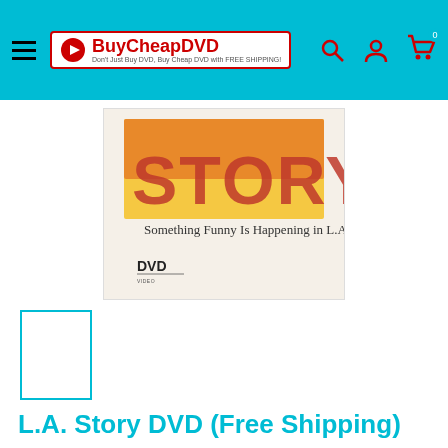BuyCheapDVD — Don't Just Buy DVD, Buy Cheap DVD with FREE SHIPPING!
[Figure (photo): DVD cover for L.A. Story showing the word STORY in large letters with a sunset background and subtitle 'Something Funny Is Happening in L.A.' with DVD logo.]
[Figure (photo): Small thumbnail image of the L.A. Story DVD cover, outlined in cyan/teal border.]
L.A. Story DVD (Free Shipping)
Save 41%